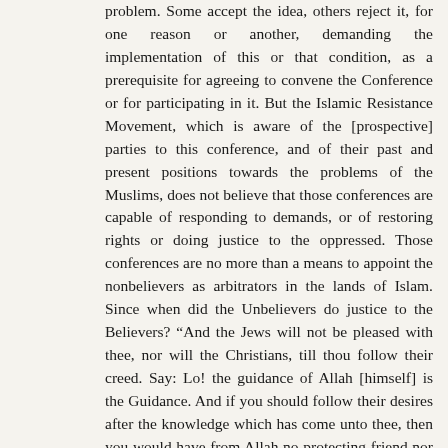problem. Some accept the idea, others reject it, for one reason or another, demanding the implementation of this or that condition, as a prerequisite for agreeing to convene the Conference or for participating in it. But the Islamic Resistance Movement, which is aware of the [prospective] parties to this conference, and of their past and present positions towards the problems of the Muslims, does not believe that those conferences are capable of responding to demands, or of restoring rights or doing justice to the oppressed. Those conferences are no more than a means to appoint the nonbelievers as arbitrators in the lands of Islam. Since when did the Unbelievers do justice to the Believers? “And the Jews will not be pleased with thee, nor will the Christians, till thou follow their creed. Say: Lo! the guidance of Allah [himself] is the Guidance. And if you should follow their desires after the knowledge which has come unto thee, then you would have from Allah no protecting friend nor helper.” Sura 2 (the Cow), verse 120 There is no solution to the Palestinian problem except by